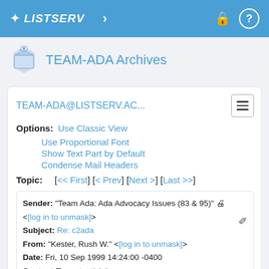LISTSERV
TEAM-ADA Archives
TEAM-ADA@LISTSERV.AC...
Options: Use Classic View
Use Proportional Font
Show Text Part by Default
Condense Mail Headers
Topic: [<< First] [< Prev] [Next >] [Last >>]
| Sender: | "Team Ada: Ada Advocacy Issues (83 & 95)" <[log in to unmask]> |
| Subject: | Re: c2ada |
| From: | "Kester, Rush W." <[log in to unmask]> |
| Date: | Fri, 10 Sep 1999 14:24:00 -0400 |
| Content-Type: | text/plain |
| MIME-Version: | 1.0 |